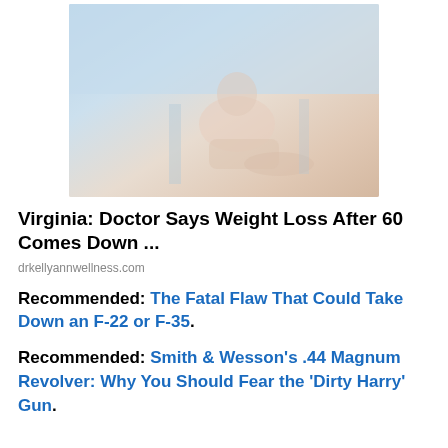[Figure (photo): Photo of a person sitting by a pool or outdoor area, light blue and beige tones]
Virginia: Doctor Says Weight Loss After 60 Comes Down ...
drkellyannwellness.com
Recommended: The Fatal Flaw That Could Take Down an F-22 or F-35.
Recommended: Smith & Wesson's .44 Magnum Revolver: Why You Should Fear the 'Dirty Harry' Gun.